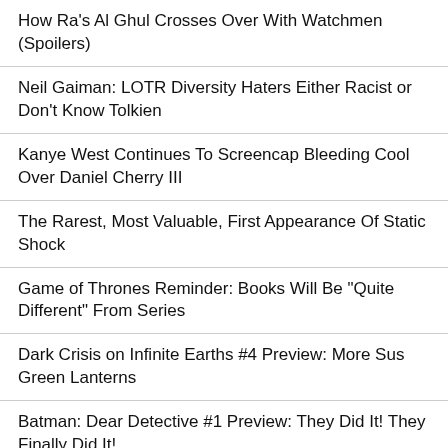How Ra's Al Ghul Crosses Over With Watchmen (Spoilers)
Neil Gaiman: LOTR Diversity Haters Either Racist or Don't Know Tolkien
Kanye West Continues To Screencap Bleeding Cool Over Daniel Cherry III
The Rarest, Most Valuable, First Appearance Of Static Shock
Game of Thrones Reminder: Books Will Be "Quite Different" From Series
Dark Crisis on Infinite Earths #4 Preview: More Sus Green Lanterns
Batman: Dear Detective #1 Preview: They Did It! They Finally Did It!
New Champion of Shazam #2 Preview: Back to Fawcett
[Figure (other): Gray placeholder/advertisement box at the bottom of the page]